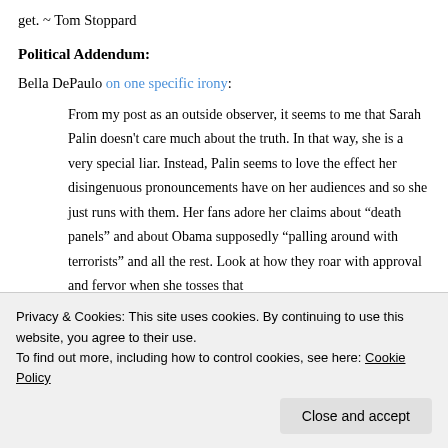get. ~ Tom Stoppard
Political Addendum:
Bella DePaulo on one specific irony:
From my post as an outside observer, it seems to me that Sarah Palin doesn't care much about the truth. In that way, she is a very special liar. Instead, Palin seems to love the effect her disingenuous pronouncements have on her audiences and so she just runs with them. Her fans adore her claims about “death panels” and about Obama supposedly “palling around with terrorists” and all the rest. Look at how they roar with approval and fervor when she tosses that
Privacy & Cookies: This site uses cookies. By continuing to use this website, you agree to their use.
To find out more, including how to control cookies, see here: Cookie Policy
Close and accept